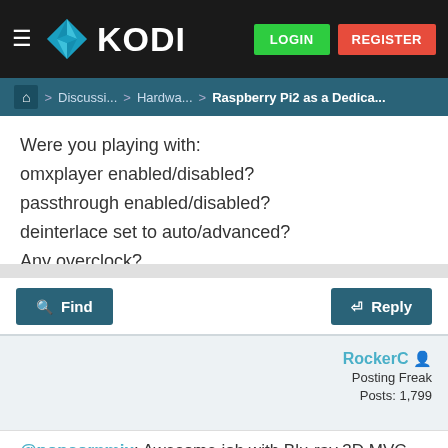KODI — LOGIN | REGISTER
Home > Discussi... > Hardwa... > Raspberry Pi2 as a Dedica...
Were you playing with:
omxplayer enabled/disabled?
passthrough enabled/disabled?
deinterlace set to auto/advanced?
Any overclock?
Find | Reply
RockerC
Posting Freak
Posts: 1,799
2016-01-25, 17:24
#7
@popcornmix: Awesome job with Blu-ray 3D MVC, Blu...